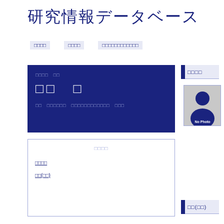研究情報データベース
□□□□　　□□□□　　□□□□□□□□□□□□
[Figure (screenshot): Dark navy blue information box with Japanese text showing researcher name and affiliation fields]
[Figure (photo): Placeholder profile photo box with silhouette icon and No Photo text]
□□□□
□□□□
□□(□□)
□□□□
□□(□□)